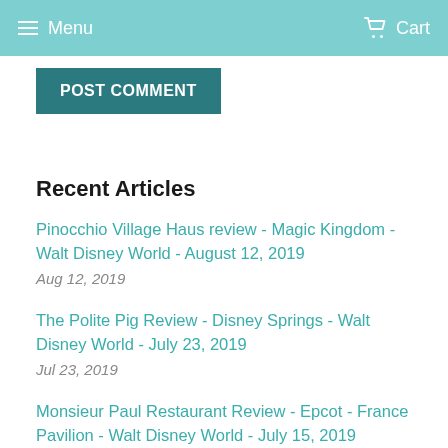Menu   Cart
POST COMMENT
Recent Articles
Pinocchio Village Haus review - Magic Kingdom - Walt Disney World - August 12, 2019
Aug 12, 2019
The Polite Pig Review - Disney Springs - Walt Disney World - July 23, 2019
Jul 23, 2019
Monsieur Paul Restaurant Review - Epcot - France Pavilion - Walt Disney World - July 15, 2019
Jul 15, 2019